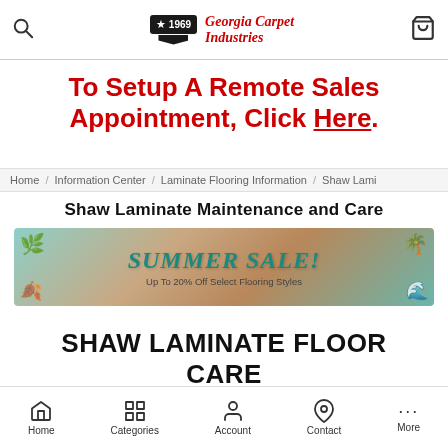[Figure (logo): Georgia Carpet Industries logo with search icon and cart icon in top navigation bar]
To Setup A Remote Sales Appointment, Click Here.
Home / Information Center / Laminate Flooring Information / Shaw Lami
Shaw Laminate Maintenance and Care
[Figure (infographic): Summer Sale banner - Up To 20% Off Select Flooring Styles]
SHAW LAMINATE FLOOR CARE AND MAINTENANCE:
Home   Categories   Account   Contact   More